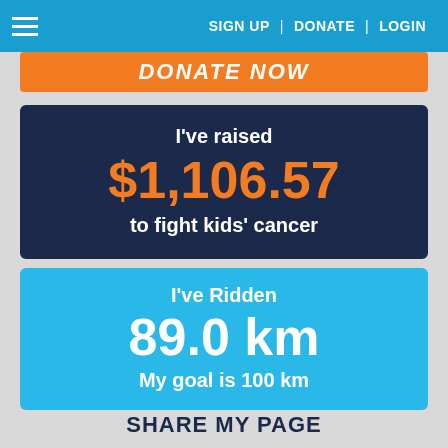≡   SIGN UP | DONATE | LOGIN
DONATE NOW
I've raised $1,106.57 to fight kids' cancer
I've Ridden 89.0 km My goal is 100 km
SHARE MY PAGE